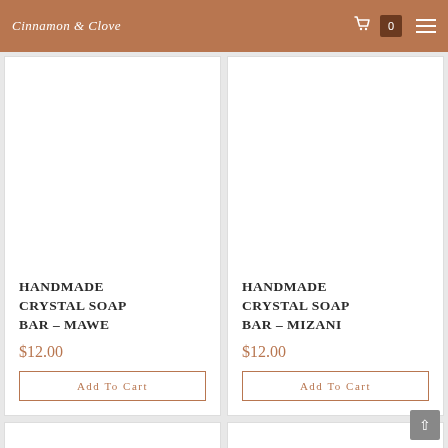Cinnamon Clove — navigation header with cart (0 items) and hamburger menu
HANDMADE CRYSTAL SOAP BAR – MAWE
$12.00
Add To Cart
HANDMADE CRYSTAL SOAP BAR – MIZANI
$12.00
Add To Cart